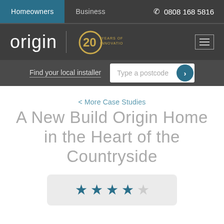Homeowners | Business | ☎ 0808 168 5816
[Figure (logo): Origin logo with '20 Years of Innovation' anniversary badge and hamburger menu icon]
Find your local installer | Type a postcode
< More Case Studies
A New Build Origin Home in the Heart of the Countryside
[Figure (other): 4 out of 5 star rating displayed as filled and empty stars]